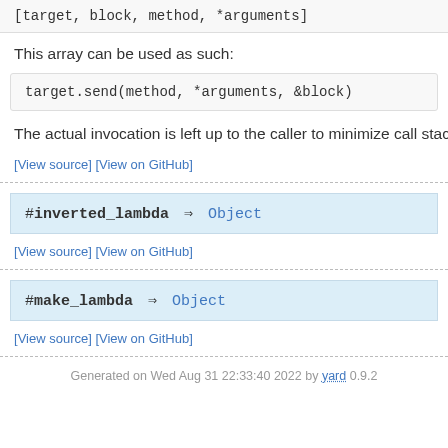[target, block, method, *arguments]
This array can be used as such:
target.send(method, *arguments, &block)
The actual invocation is left up to the caller to minimize call stack
[View source] [View on GitHub]
#inverted_lambda ⇒ Object
[View source] [View on GitHub]
#make_lambda ⇒ Object
[View source] [View on GitHub]
Generated on Wed Aug 31 22:33:40 2022 by yard 0.9.2